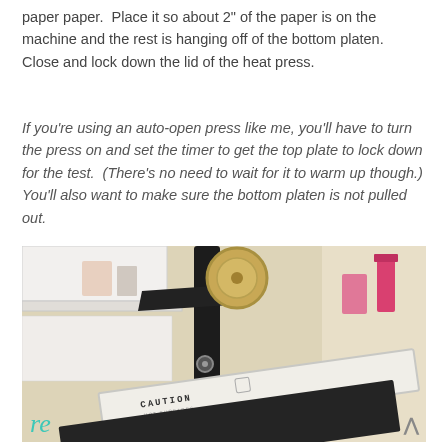paper paper.  Place it so about 2" of the paper is on the machine and the rest is hanging off of the bottom platen.  Close and lock down the lid of the heat press.
If you're using an auto-open press like me, you'll have to turn the press on and set the timer to get the top plate to lock down for the test.  (There's no need to wait for it to warm up though.) You'll also want to make sure the bottom platen is not pulled out.
[Figure (photo): Photo of a heat press machine with the lid closed and locked down. The machine arm is visible with a circular knob at top. The lid/top platen shows a CAUTION HOT SURFACES label. The bottom platen is dark/black. Background shows shelves with pink and red items.]